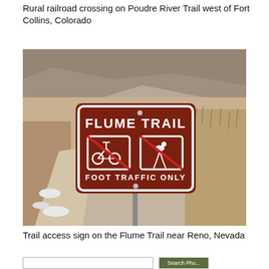Rural railroad crossing on Poudre River Trail west of Fort Collins, Colorado
[Figure (photo): Trail access sign on the Flume Trail near Reno, Nevada. Brown sign reads 'FLUME TRAIL' with crossed-out bicycle and horse icons, and 'FOOT TRAFFIC ONLY' text. Desert/scrubland background.]
Trail access sign on the Flume Trail near Reno, Nevada